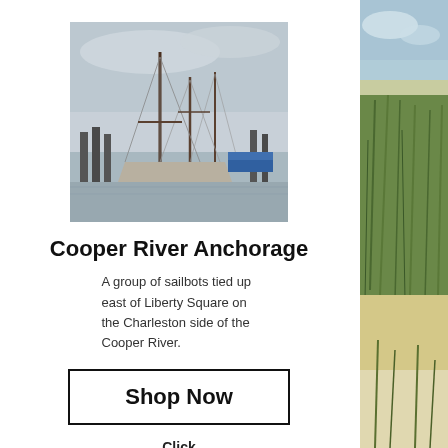[Figure (photo): Sailboats tied up at a dock on the Cooper River, Charleston, with tall masts and overcast sky]
Cooper River Anchorage
A group of sailbots tied up east of Liberty Square on the Charleston side of the Cooper River.
Shop Now
Click image to see full
[Figure (photo): Beach dune scene with sea grasses and sandy beach, blue sky with clouds, partial view on right side]